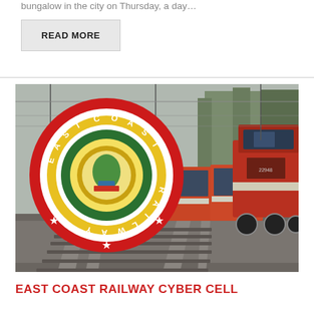bungalow in the city on Thursday, a day…
READ MORE
[Figure (photo): East Coast Railway logo overlaid on a photo of an Indian electric locomotive pulling orange passenger coaches along a railway track through a tree-lined route. The circular logo reads 'EAST COAST RAILWAY' with a decorative emblem in the center.]
EAST COAST RAILWAY CYBER CELL